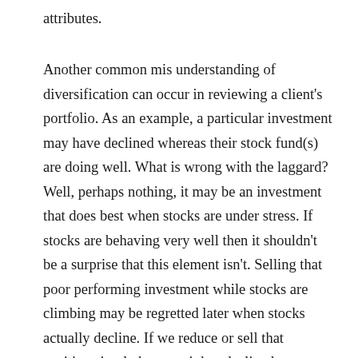attributes.
Another common mis understanding of diversification can occur in reviewing a client's portfolio. As an example, a particular investment may have declined whereas their stock fund(s) are doing well. What is wrong with the laggard? Well, perhaps nothing, it may be an investment that does best when stocks are under stress. If stocks are behaving very well then it shouldn't be a surprise that this element isn't. Selling that poor performing investment while stocks are climbing may be regretted later when stocks actually decline. If we reduce or sell that position simply because it has declined we may be undoing the diversification element that was purposefully included in the portfolio when it was constructed. There are certainly